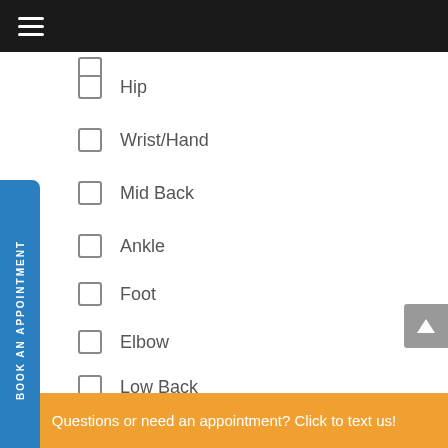Hip
Wrist/Hand
Mid Back
Ankle
Foot
Elbow
Low Back
Shoulder
Knee
Questions or need an appointment? Click to text us!